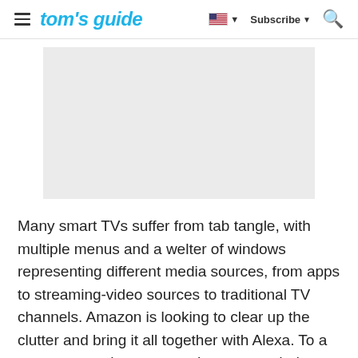tom's guide — Subscribe
[Figure (other): Gray advertisement placeholder rectangle]
Many smart TVs suffer from tab tangle, with multiple menus and a welter of windows representing different media sources, from apps to streaming-video sources to traditional TV channels. Amazon is looking to clear up the clutter and bring it all together with Alexa. To a great extent, the company has succeeded, although not all Alexa skills are supported and this set's picture definitely could be better.